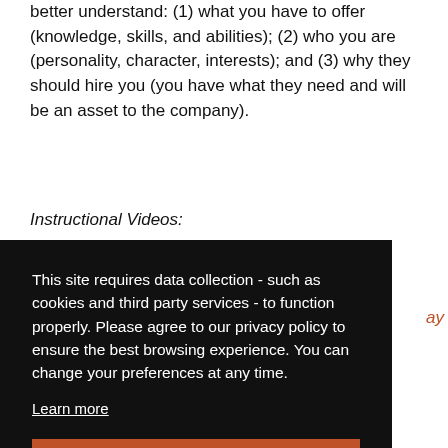better understand: (1) what you have to offer (knowledge, skills, and abilities); (2) who you are (personality, character, interests); and (3) why they should hire you (you have what they need and will be an asset to the company).
Instructional Videos:
This site requires data collection - such as cookies and third party services - to function properly. Please agree to our privacy policy to ensure the best browsing experience. You can change your preferences at any time.
Learn more
Accept
Interview Appearance